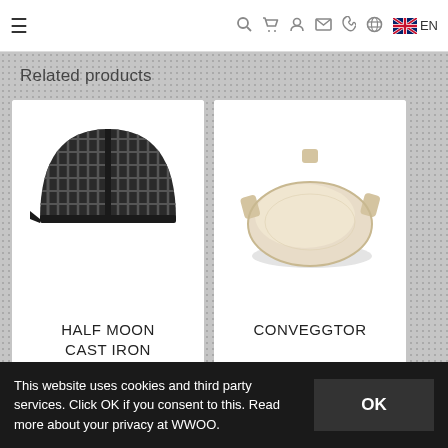≡  🔍  🛒  👤  ✉  📞  🌐  🇬🇧 EN
Related products
[Figure (photo): Half moon cast iron griddle product photo — dark cast iron semicircular grill grate]
HALF MOON CAST IRON GRIDDLE...
[Figure (photo): ConvEGGtor product photo — cream/beige ceramic oval convection plate with handles]
CONVEGGTOR
This website uses cookies and third party services. Click OK if you consent to this. Read more about your privacy at WWOO.